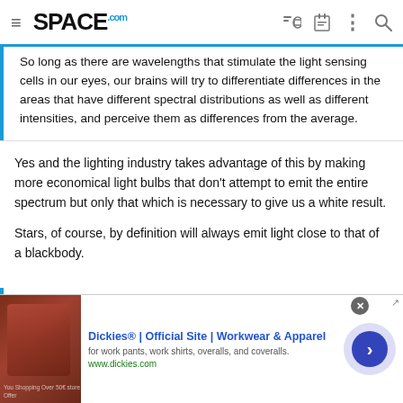SPACE.com
So long as there are wavelengths that stimulate the light sensing cells in our eyes, our brains will try to differentiate differences in the areas that have different spectral distributions as well as different intensities, and perceive them as differences from the average.
Yes and the lighting industry takes advantage of this by making more economical light bulbs that don't attempt to emit the entire spectrum but only that which is necessary to give us a white result.
Stars, of course, by definition will always emit light close to that of a blackbody.
Some people lack one or more of the 3 different cell types that have different peaks in their spectral sensitivities. We call color...
[Figure (screenshot): Advertisement banner for Dickies Official Site — Workwear & Apparel with thumbnail image of dark red leather/workwear, ad text 'Dickies® | Official Site | Workwear & Apparel', subtitle 'for work pants, work shirts, overalls, and coveralls.', URL 'www.dickies.com', and a blue arrow button on the right.]